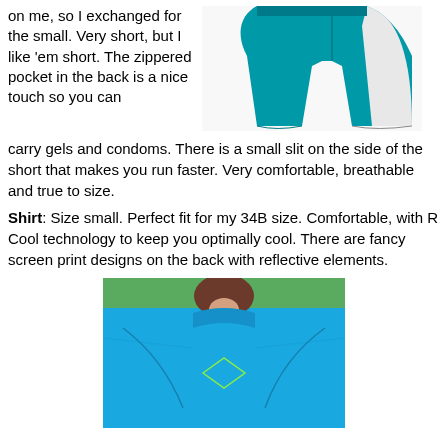on me, so I exchanged for the small. Very short, but I like 'em short. The zippered pocket in the back is a nice touch so you can carry gels and condoms. There is a small slit on the side of the short that makes you run faster. Very comfortable, breathable and true to size.
[Figure (photo): Teal/blue running shorts product photo with white side panel]
Shirt: Size small. Perfect fit for my 34B size. Comfortable, with R Cool technology to keep you optimally cool. There are fancy screen print designs on the back with reflective elements.
[Figure (photo): Close-up photo of person wearing a bright blue athletic shirt with seam details and reflective diamond design]